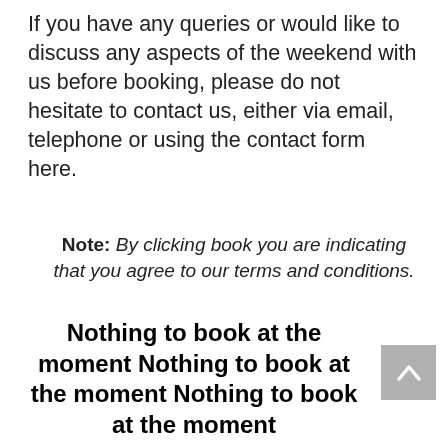If you have any queries or would like to discuss any aspects of the weekend with us before booking, please do not hesitate to contact us, either via email, telephone or using the contact form here.
Note: By clicking book you are indicating that you agree to our terms and conditions.
Nothing to book at the moment Nothing to book at the moment Nothing to book at the moment